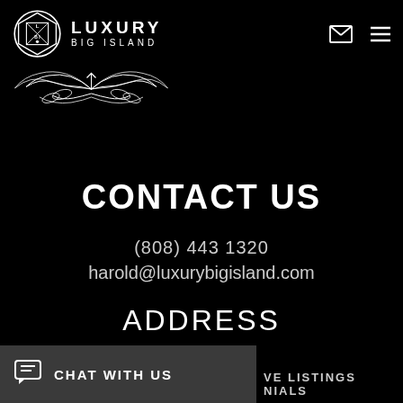[Figure (logo): Luxury Big Island logo with emblem shield, brand name text 'LUXURY BIG ISLAND', and decorative wing ornament below]
CONTACT US
(808) 443 1320
harold@luxurybigisland.com
ADDRESS
1003 Bishop St. Suite 2700, Honolulu, HI 96813
CHAT WITH US
VE LISTINGS
NIALS